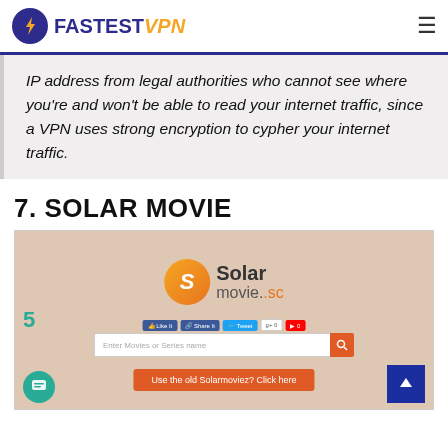FastestVPN
IP address from legal authorities who cannot see where you're and won't be able to read your internet traffic, since a VPN uses strong encryption to cypher your internet traffic.
7. SOLAR MOVIE
[Figure (screenshot): Screenshot of SolarMovie.sc website homepage showing logo, social share buttons, a search bar with 'Enter Movies or Series name' placeholder, and a CTA button 'Use the old Solarmoviez? Click here']